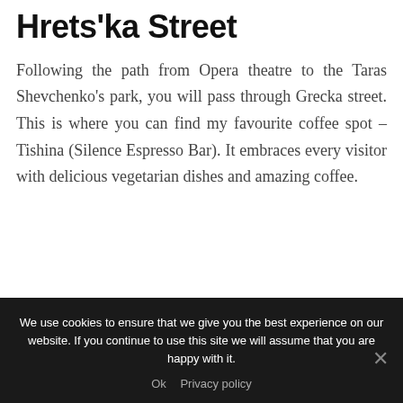Hrets'ka Street
Following the path from Opera theatre to the Taras Shevchenko's park, you will pass through Grecka street. This is where you can find my favourite coffee spot – Tishina (Silence Espresso Bar). It embraces every visitor with delicious vegetarian dishes and amazing coffee.
We use cookies to ensure that we give you the best experience on our website. If you continue to use this site we will assume that you are happy with it.
Ok   Privacy policy